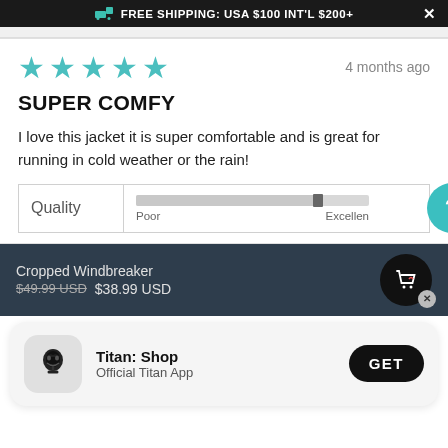FREE SHIPPING: USA $100 INT'L $200+
4 months ago
SUPER COMFY
I love this jacket it is super comfortable and is great for running in cold weather or the rain!
| Quality | Poor ... Excellent |
| --- | --- |
| Quality | bar slider near Excellent |
Cropped Windbreaker
$49.99 USD  $38.99 USD
Titan: Shop Official Titan App GET